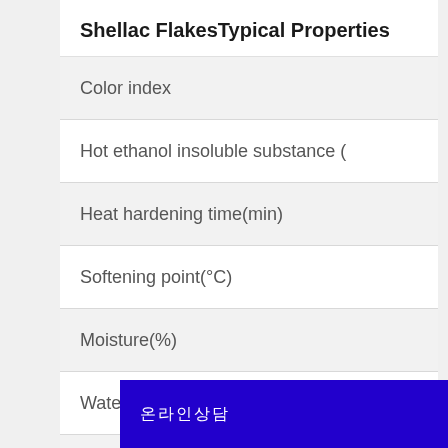Shellac FlakesTypical Properties
| Property |
| --- |
| Color index |
| Hot ethanol insoluble substance ( |
| Heat hardening time(min) |
| Softening point(°C) |
| Moisture(%) |
| Water soluble (%) |
| Lodine (g/100g) |
| Aci |
온라인상담